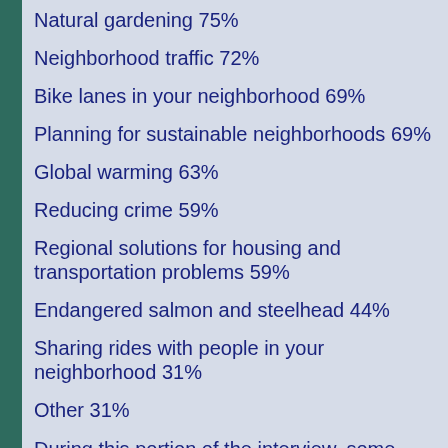Natural gardening 75%
Neighborhood traffic 72%
Bike lanes in your neighborhood 69%
Planning for sustainable neighborhoods 69%
Global warming 63%
Reducing crime 59%
Regional solutions for housing and transportation problems 59%
Endangered salmon and steelhead 44%
Sharing rides with people in your neighborhood 31%
Other 31%
During this portion of the interview, some participants expressed concern that they might be pressured to set up additional mee